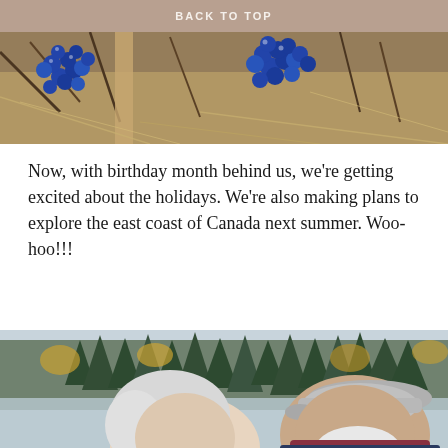BACK TO TOP
[Figure (photo): Close-up photo of blue berries/grapes on branches with dry grass and sticks in the background, autumn outdoor setting]
Now, with birthday month behind us, we're getting excited about the holidays. We're also making plans to explore the east coast of Canada next summer. Woo-hoo!!!
[Figure (photo): Photo of two older adults smiling outdoors, a woman with white/silver hair and a man wearing a light gray flat cap with a beard, with a forested background with autumn foliage]